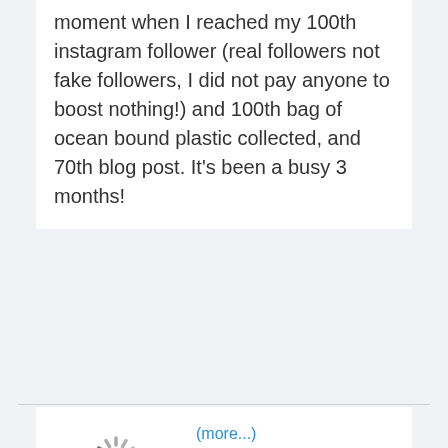moment when I reached my 100th instagram follower (real followers not fake followers, I did not pay anyone to boost nothing!) and 100th bag of ocean bound plastic collected, and 70th blog post. It's been a busy 3 months!
(more...)
Who Gives a Cr@p Toilet Paper
December 9, 2019